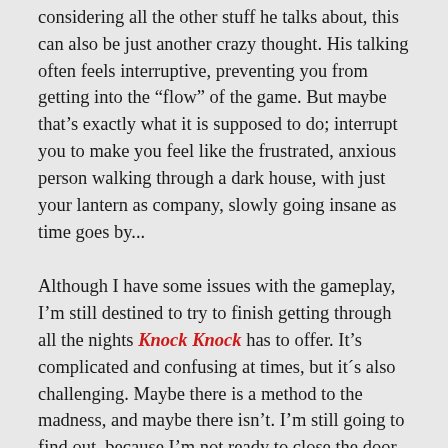considering all the other stuff he talks about, this can also be just another crazy thought. His talking often feels interruptive, preventing you from getting into the “flow” of the game. But maybe that’s exactly what it is supposed to do; interrupt you to make you feel like the frustrated, anxious person walking through a dark house, with just your lantern as company, slowly going insane as time goes by...
Although I have some issues with the gameplay, I’m still destined to try to finish getting through all the nights Knock Knock has to offer. It’s complicated and confusing at times, but it´s also challenging. Maybe there is a method to the madness, and maybe there isn’t. I’m still going to find out, because I’m not ready to close the door on this one.
[divider]